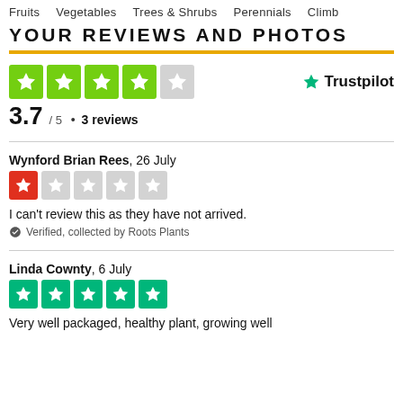Fruits   Vegetables   Trees & Shrubs   Perennials   Climb
YOUR REVIEWS AND PHOTOS
3.7 / 5 • 3 reviews
Wynford Brian Rees, 26 July
I can't review this as they have not arrived.
Verified, collected by Roots Plants
Linda Cownty, 6 July
Very well packaged, healthy plant, growing well